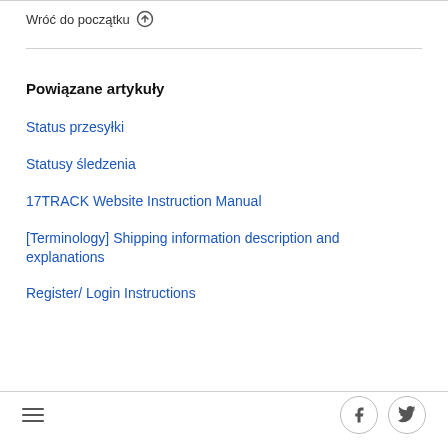Wróć do początku ↑
Powiązane artykuły
Status przesyłki
Statusy śledzenia
17TRACK Website Instruction Manual
[Terminology] Shipping information description and explanations
Register/ Login Instructions
≡  [Facebook] [Twitter]